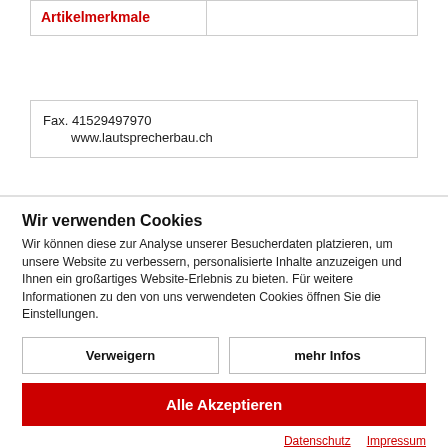Artikelmerkmale
Fax. 41529497970
    www.lautsprecherbau.ch
Wir verwenden Cookies
Wir können diese zur Analyse unserer Besucherdaten platzieren, um unsere Website zu verbessern, personalisierte Inhalte anzuzeigen und Ihnen ein großartiges Website-Erlebnis zu bieten. Für weitere Informationen zu den von uns verwendeten Cookies öffnen Sie die Einstellungen.
Verweigern
mehr Infos
Alle Akzeptieren
Datenschutz    Impressum